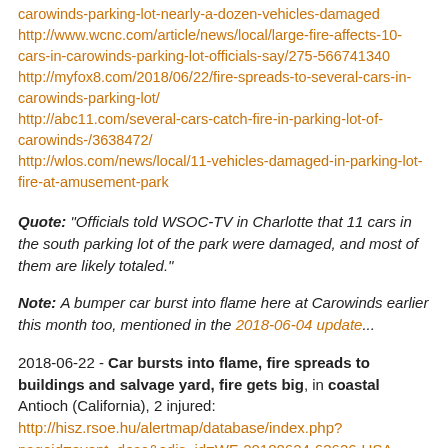carowinds-parking-lot-nearly-a-dozen-vehicles-damaged
http://www.wcnc.com/article/news/local/large-fire-affects-10-cars-in-carowinds-parking-lot-officials-say/275-566741340
http://myfox8.com/2018/06/22/fire-spreads-to-several-cars-in-carowinds-parking-lot/
http://abc11.com/several-cars-catch-fire-in-parking-lot-of-carowinds-/3638472/
http://wlos.com/news/local/11-vehicles-damaged-in-parking-lot-fire-at-amusement-park
Quote: "Officials told WSOC-TV in Charlotte that 11 cars in the south parking lot of the park were damaged, and most of them are likely totaled."
Note: A bumper car burst into flame here at Carowinds earlier this month too, mentioned in the 2018-06-04 update...
2018-06-22 - Car bursts into flame, fire spreads to buildings and salvage yard, fire gets big, in coastal Antioch (California), 2 injured:
http://hisz.rsoe.hu/alertmap/database/index.php?pageid=event_desc&edis_id=WF-20180624-63626-USA